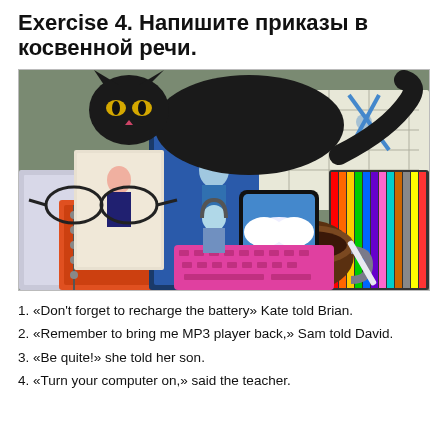Exercise 4. Напишите приказы в косвенной речи.
[Figure (illustration): Illustration of a black cat lying on a desk surrounded by school and hobby items: glasses, colored pencils, notebooks, anime figurines, a smartphone, a cup of coffee, scissors, and various books.]
1. «Don't forget to recharge the battery» Kate told Brian.
2. «Remember to bring me MP3 player back,» Sam told David.
3. «Be quite!» she told her son.
4. «Turn your computer on,» said the teacher.